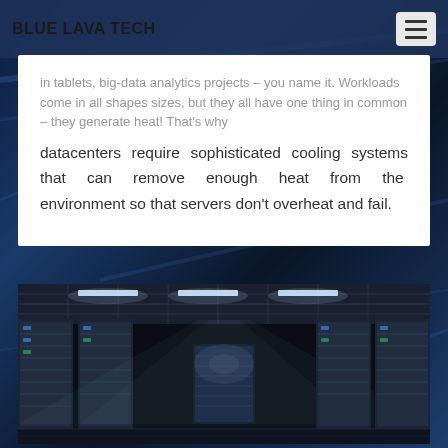BLUE LAVA TECH
in tablets, big-data analytics projects – you name it. Workloads come in all shapes sizes, but they all have one thing in common – they generate heat! That's why datacenters require sophisticated cooling systems that can remove enough heat from the environment so that servers don't overheat and fail.
[Figure (photo): Interior of a modern datacenter showing rows of server racks with overhead lighting in a long corridor perspective]